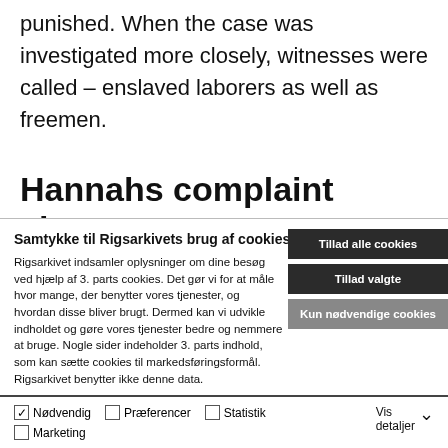punished. When the case was investigated more closely, witnesses were called – enslaved laborers as well as freemen.
Hannahs complaint about
Samtykke til Rigsarkivets brug af cookies
Rigsarkivet indsamler oplysninger om dine besøg ved hjælp af 3. parts cookies. Det gør vi for at måle hvor mange, der benytter vores tjenester, og hvordan disse bliver brugt. Dermed kan vi udvikle indholdet og gøre vores tjenester bedre og nemmere at bruge. Nogle sider indeholder 3. parts indhold, som kan sætte cookies til markedsføringsformål. Rigsarkivet benytter ikke denne data.
Tillad alle cookies
Tillad valgte
Kun nødvendige cookies
Nødvendig  Præferencer  Statistik  Marketing  Vis detaljer